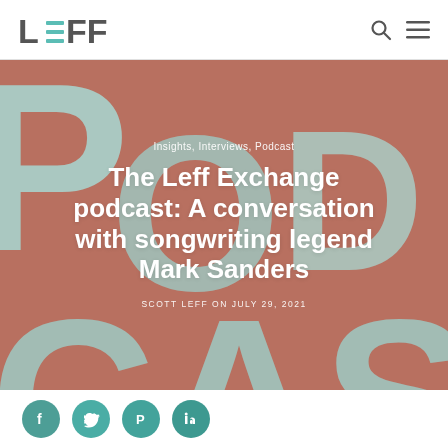LEFF
[Figure (illustration): Hero banner with terracotta/salmon background color and large light blue 'PODCAST' letters as decorative background text. Overlaid white text shows category tags, article title, and byline.]
Insights, Interviews, Podcast
The Leff Exchange podcast: A conversation with songwriting legend Mark Sanders
SCOTT LEFF ON JULY 29, 2021
[Figure (other): Social sharing buttons: Facebook, Twitter, Pinterest, LinkedIn — teal circular icons at the bottom of the page]